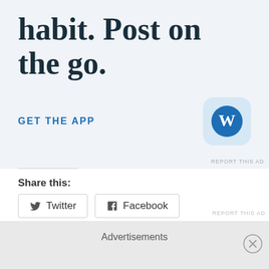habit. Post on the go.
GET THE APP
[Figure (logo): WordPress app icon — blue circle with white W on light blue rounded square background]
REPORT THIS AD
Share this:
Twitter
Facebook
Loading...
REPORT THIS AD
Advertisements